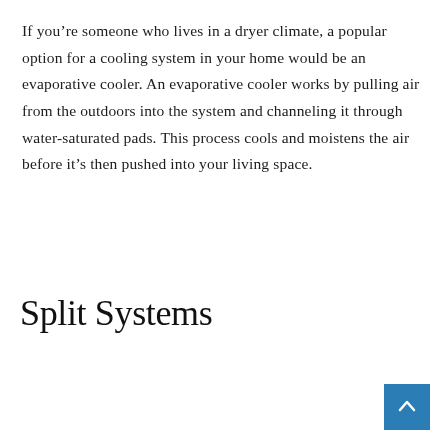If you're someone who lives in a dryer climate, a popular option for a cooling system in your home would be an evaporative cooler. An evaporative cooler works by pulling air from the outdoors into the system and channeling it through water-saturated pads. This process cools and moistens the air before it's then pushed into your living space.
Split Systems